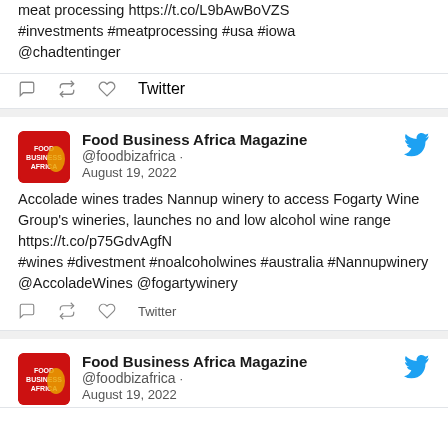meat processing https://t.co/L9bAwBoVZS #investments #meatprocessing #usa #iowa @chadtentinger
Twitter
[Figure (screenshot): Food Business Africa Magazine Twitter profile card, August 19 2022]
Accolade wines trades Nannup winery to access Fogarty Wine Group's wineries, launches no and low alcohol wine range https://t.co/p75GdvAgfN #wines #divestment #noalcoholwines #australia #Nannupwinery @AccoladeWines @fogartywinery
Twitter
[Figure (screenshot): Food Business Africa Magazine Twitter profile card, August 19 2022 (second tweet)]